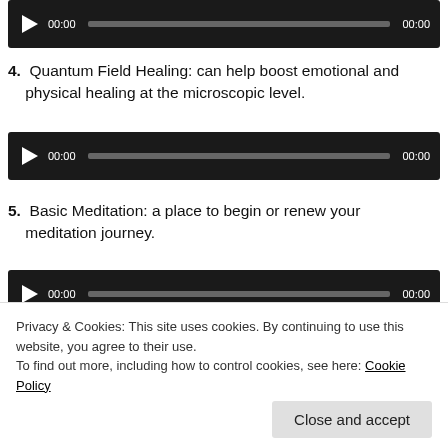[Figure (screenshot): Audio player at top of page, dark background, showing 00:00 time on both sides with progress bar]
4. Quantum Field Healing: can help boost emotional and physical healing at the microscopic level.
[Figure (screenshot): Audio player for item 4, dark background, showing 00:00 time on both sides with progress bar]
5. Basic Meditation: a place to begin or renew your meditation journey.
[Figure (screenshot): Audio player for item 5, dark background, showing 00:00 time on both sides with progress bar]
You can also find my guided meditations on iTunes. I
Privacy & Cookies: This site uses cookies. By continuing to use this website, you agree to their use.
To find out more, including how to control cookies, see here: Cookie Policy
Close and accept